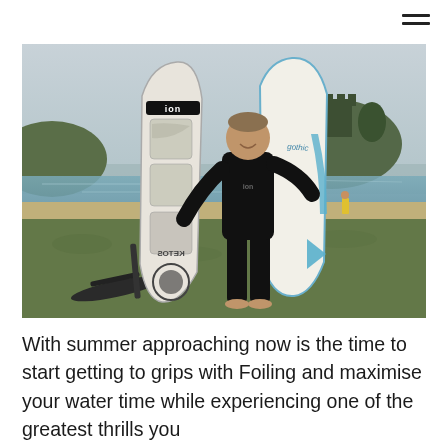[Figure (photo): A man in a black wetsuit standing outdoors on grass near a beach, holding a white and blue surfboard/foilboard upright beside him. A second board with traction pads and an ION logo handle is leaning against him. A foil fin is visible on the ground to the left. In the background is a coastal scene with water, sandy beach, and a rocky island with a castle or fort structure on top. Other people are visible in the background near the shoreline.]
With summer approaching now is the time to start getting to grips with Foiling and maximise your water time while experiencing one of the greatest thrills you